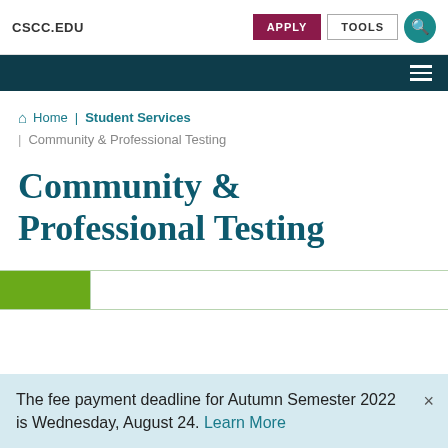CSCC.EDU | APPLY | TOOLS
Home | Student Services | Community & Professional Testing
Community & Professional Testing
The fee payment deadline for Autumn Semester 2022 is Wednesday, August 24. Learn More